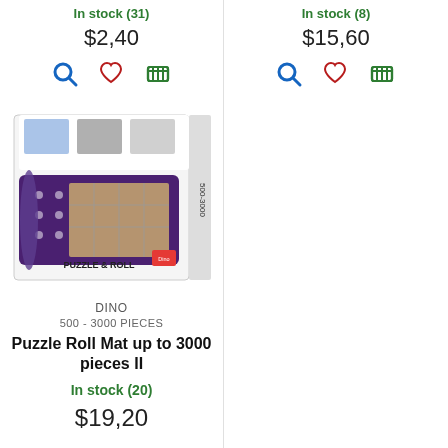In stock (31)
$2,40
[Figure (infographic): Action icons: search (blue magnifying glass), heart (red outline), shopping cart (green)]
In stock (8)
$15,60
[Figure (infographic): Action icons: search (blue magnifying glass), heart (red outline), shopping cart (green)]
[Figure (photo): Photo of Dino Puzzle & Roll mat product box, showing a purple roll mat with puzzle pieces and some instructional images on the box. Text on box reads PUZZLE & ROLL 500-3000]
DINO
500 - 3000 PIECES
Puzzle Roll Mat up to 3000 pieces II
In stock (20)
$19,20